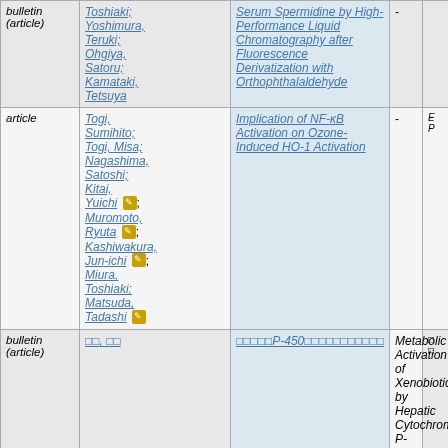| Type | Authors | Title |  |  |
| --- | --- | --- | --- | --- |
| bulletin (article) | Toshiaki; Yoshimura, Teruki; Ohgiya, Satoru; Kamataki, Tetsuya | Serum Spermidine by High-Performance Liquid Chromatography after Fluorescence Derivatization with Orthophthalaldehyde | - |  |
| article | Togi, Sumihito; Togi, Misa; Nagashima, Satoshi; Kitai, Yuichi; Muromoto, Ryuta; Kashiwakura, Jun-ichi; Miura, Toshiaki; Matsuda, Tadashi | Implication of NF-κB Activation on Ozone-Induced HO-1 Activation | - | E P |
| bulletin (article) | [CJK], [CJK] | [CJK title P-450 CJK] | Metabolic Activation of Xenobiotics by Hepatic Cytochrome P-450 Enzymes |  |
| bulletin | [CJK]; [CJK]; [CJK] | [CJK long title] | Highly Sensitive Determination of Phenylalanine in Urine by |  |